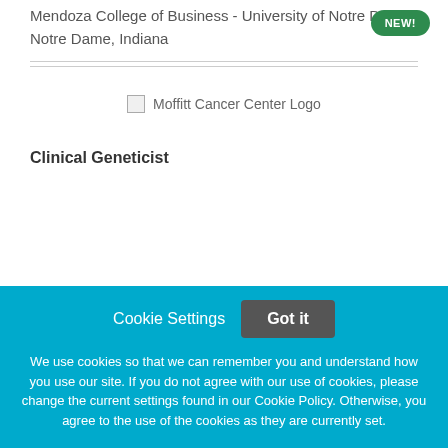Mendoza College of Business - University of Notre Dame
Notre Dame, Indiana
[Figure (logo): Moffitt Cancer Center Logo]
Clinical Geneticist
Cookie Settings   Got it

We use cookies so that we can remember you and understand how you use our site. If you do not agree with our use of cookies, please change the current settings found in our Cookie Policy. Otherwise, you agree to the use of the cookies as they are currently set.